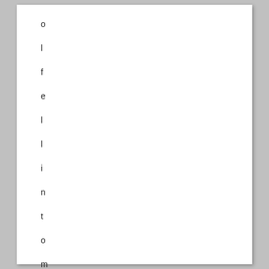o
l
f
e
l
l
i
n
t
o
m
y
i
n
b
o
x
t
o
d
a
y
.

T